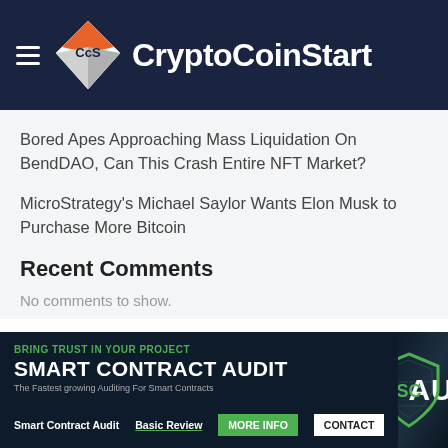CryptoCoinStart
Bored Apes Approaching Mass Liquidation On BendDAO, Can This Crash Entire NFT Market?
MicroStrategy's Michael Saylor Wants Elon Musk to Purchase More Bitcoin
Recent Comments
No comments to show.
[Figure (infographic): Smart Contract Audit advertisement banner with green shield logo, 'BRING TRUST IN YOUR PROJECT', 'SMART CONTRACT AUDIT', 'The Fastest growing Auditing For Smart Contracts', links for Smart Contract Audit, Basic Review, MORE INFO button, CONTACT button, and AUDIT. text with SC shield logo.]